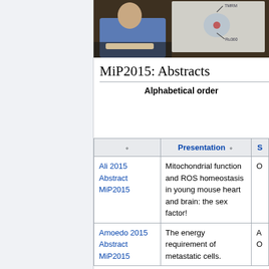[Figure (photo): A person presenting at a conference, with a projection screen showing a diagram with 'TMRM' and 'Ru360' labels visible. The presenter is wearing a blue top and the background shows dark chairs/seating.]
MiP2015: Abstracts
Alphabetical order
|  | Presentation | S |
| --- | --- | --- |
| Ali 2015 Abstract MiP2015 | Mitochondrial function and ROS homeostasis in young mouse heart and brain: the sex factor! | O |
| Amoedo 2015 Abstract MiP2015 | The energy requirement of metastatic cells. | A O |